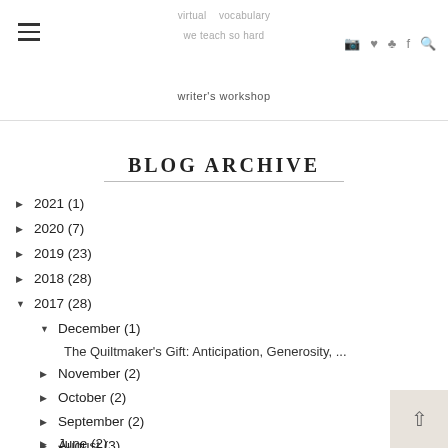virtual vocabulary we teach so hard writer's workshop
BLOG ARCHIVE
► 2021 (1)
► 2020 (7)
► 2019 (23)
► 2018 (28)
▼ 2017 (28)
▼ December (1)
The Quiltmaker's Gift: Anticipation, Generosity, ...
► November (2)
► October (2)
► September (2)
► August (3)
► June (2)